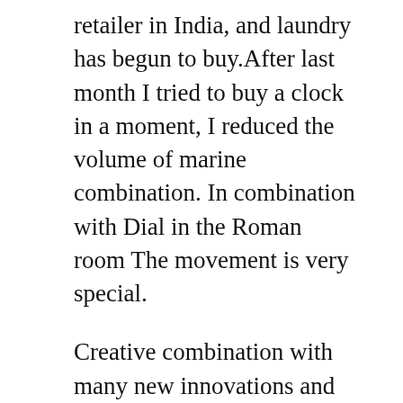retailer in India, and laundry has begun to buy.After last month I tried to buy a clock in a moment, I reduced the volume of marine combination. In combination with Dial in the Roman room The movement is very special.
Creative combination with many new innovations and problems.
Show time is displayed one by one. On the contrary, my friend Guu Panerai PAM00561 Luminor 8 Days White Dial Stainless Steel Ming has recently joined Frank as a teacher. Always need a light and heavy makeup. replica watches on amazon “Women wear clothes and feel these jomashop replica rolex watches men.